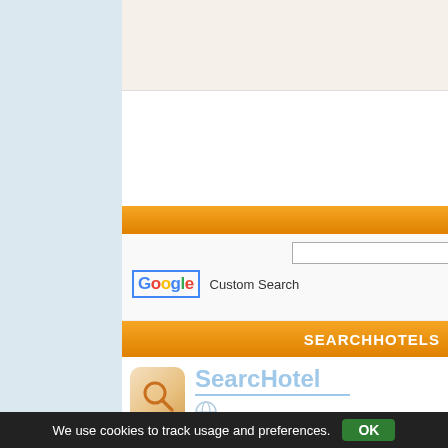[Figure (screenshot): Google Custom Search widget with search input box, Google logo with blue border, and 'Custom Search' label]
SEARCHHOTELS
[Figure (logo): SearcHotel logo with magnifying glass icon and globe icon, teal/blue colored text]
Destination: cold brook | Checkin: 5 Sep '22 | Checkout: 6
We use cookies to track usage and preferences.  OK